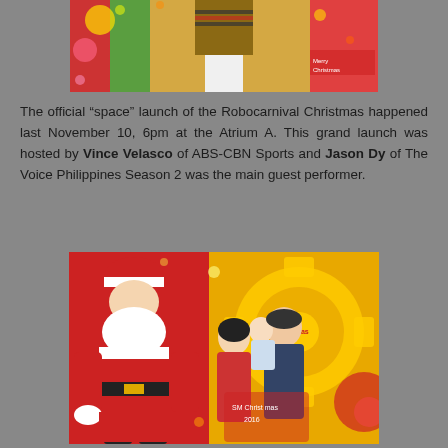[Figure (photo): Person on stage at Robocarnival Christmas event, wearing a striped shirt and brown jacket, with colorful Christmas decorations in the background]
The official “space” launch of the Robocarnival Christmas happened last November 10, 6pm at the Atrium A. This grand launch was hosted by Vince Velasco of ABS-CBN Sports and Jason Dy of The Voice Philippines Season 2 was the main guest performer.
[Figure (photo): A family posing with Santa Claus at the SM Christmas event, with colorful Christmas decorations in the background including a large gear-shaped ornament]